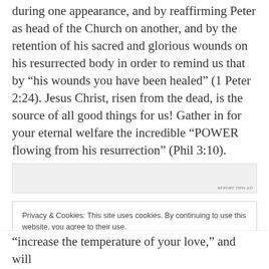during one appearance, and by reaffirming Peter as head of the Church on another, and by the retention of his sacred and glorious wounds on his resurrected body in order to remind us that by “his wounds you have been healed” (1 Peter 2:24). Jesus Christ, risen from the dead, is the source of all good things for us! Gather in for your eternal welfare the incredible “POWER flowing from his resurrection” (Phil 3:10).
[Figure (other): Advertisement banner with REPORT THIS AD label]
Privacy & Cookies: This site uses cookies. By continuing to use this website, you agree to their use.
To find out more, including how to control cookies, see here: Cookie Policy
“increase the temperature of your love,” and will